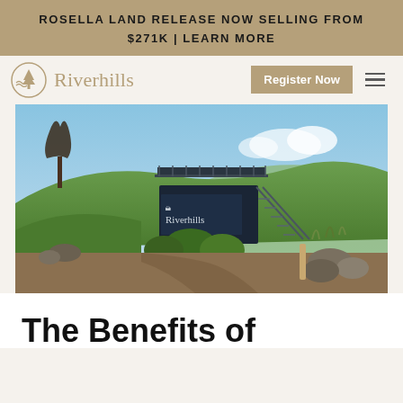ROSELLA LAND RELEASE NOW SELLING FROM $271K | LEARN MORE
[Figure (logo): Riverhills logo with tree/wave icon and text 'Riverhills' in serif gold font, plus Register Now button and hamburger menu]
[Figure (photo): Outdoor photo of a Riverhills sales office/display building with stairs, viewing deck, surrounded by green hills, vegetation, rocks and a dirt path]
The Benefits of